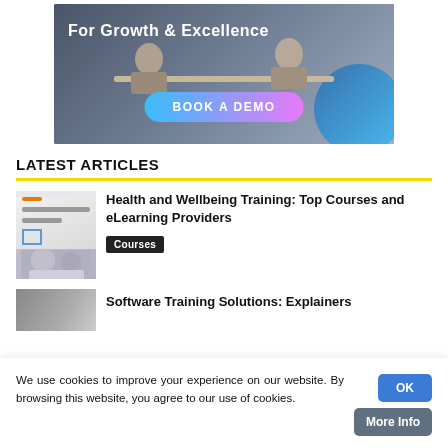[Figure (illustration): Banner image showing people sitting at a table with overlay text 'For Growth & Excellence' and a 'BOOK A DEMO' button with gradient pink/blue styling, plus a teal/blue circle decoration on the right.]
LATEST ARTICLES
[Figure (illustration): Thumbnail image for article about Health and Wellbeing Training showing a document/brochure cover.]
Health and Wellbeing Training: Top Courses and eLearning Providers
Courses
[Figure (photo): Thumbnail image for Software Training Solutions article, partially visible.]
Software Training Solutions: Explainers
We use cookies to improve your experience on our website. By browsing this website, you agree to our use of cookies.